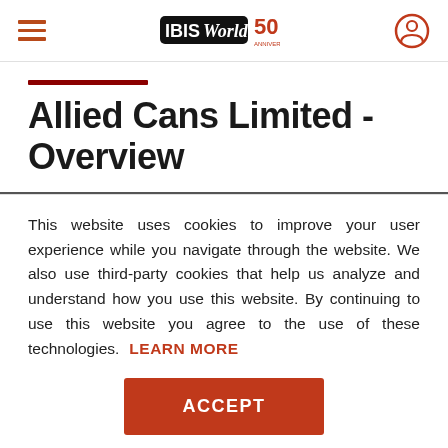IBISWorld 50th Anniversary
Allied Cans Limited - Overview
This website uses cookies to improve your user experience while you navigate through the website. We also use third-party cookies that help us analyze and understand how you use this website. By continuing to use this website you agree to the use of these technologies. LEARN MORE
ACCEPT